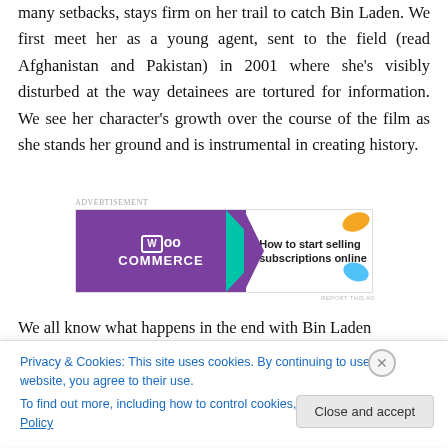many setbacks, stays firm on her trail to catch Bin Laden. We first meet her as a young agent, sent to the field (read Afghanistan and Pakistan) in 2001 where she's visibly disturbed at the way detainees are tortured for information. We see her character's growth over the course of the film as she stands her ground and is instrumental in creating history.
[Figure (other): WooCommerce advertisement banner: purple background on left with WooCommerce logo and teal arrow, white background on right with text 'How to start selling subscriptions online', orange and teal decorative leaf shapes]
We all know what happens in the end with Bin Laden
Privacy & Cookies: This site uses cookies. By continuing to use this website, you agree to their use.
To find out more, including how to control cookies, see here: Cookie Policy